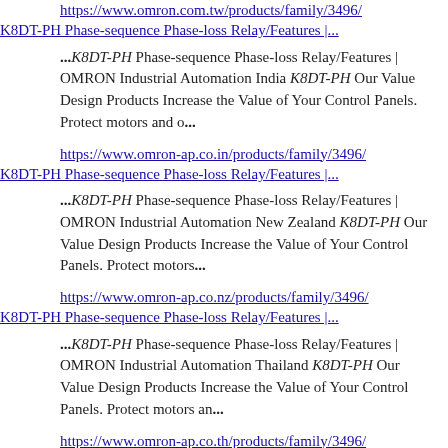https://www.omron.com.tw/products/family/3496/
K8DT-PH Phase-sequence Phase-loss Relay/Features |...
...K8DT-PH Phase-sequence Phase-loss Relay/Features | OMRON Industrial Automation India K8DT-PH Our Value Design Products Increase the Value of Your Control Panels. Protect motors and o...
https://www.omron-ap.co.in/products/family/3496/
K8DT-PH Phase-sequence Phase-loss Relay/Features |...
...K8DT-PH Phase-sequence Phase-loss Relay/Features | OMRON Industrial Automation New Zealand K8DT-PH Our Value Design Products Increase the Value of Your Control Panels. Protect motors...
https://www.omron-ap.co.nz/products/family/3496/
K8DT-PH Phase-sequence Phase-loss Relay/Features |...
...K8DT-PH Phase-sequence Phase-loss Relay/Features | OMRON Industrial Automation Thailand K8DT-PH Our Value Design Products Increase the Value of Your Control Panels. Protect motors an...
https://www.omron-ap.co.th/products/family/3496/